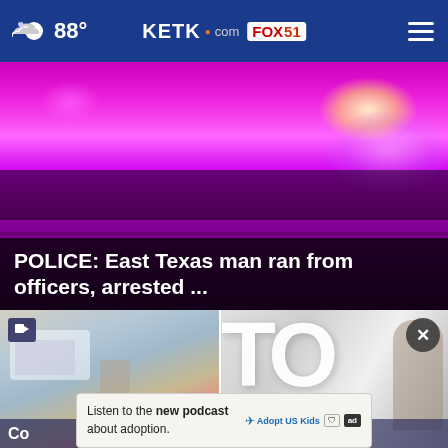88° KETK.com FOX51
[Figure (photo): Police car with bright pink/magenta flashing lights at night, blurred background]
POLICE: East Texas man ran from officers, arrested ...
[Figure (photo): Left thumbnail: outdoor scene with vehicles and people gathered]
[Figure (photo): Right thumbnail: large white letters 'TO' blurred, person visible at right edge]
Company gives
Listen to the new podcast about adoption.
[Figure (logo): Adopt US Kids logo with HHS seal and ad badge]